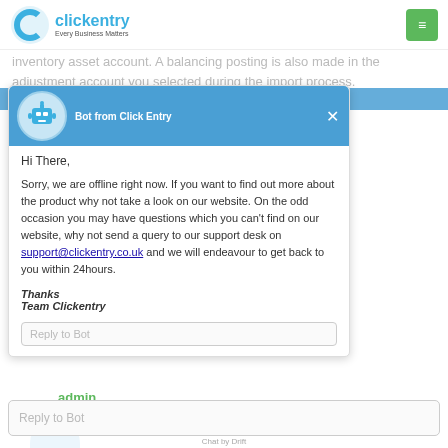[Figure (logo): Clickentry logo with blue 'e' icon and text 'clickentry Every Business Matters']
[Figure (screenshot): Chatbot popup from Click Entry with offline message and support email]
Hi There,
Sorry, we are offline right now. If you want to find out more about the product why not take a look on our website. On the odd occasion you may have questions which you can't find on our website, why not send a query to our support desk on support@clickentry.co.uk and we will endeavour to get back to you within 24hours.
Thanks
Team Clickentry